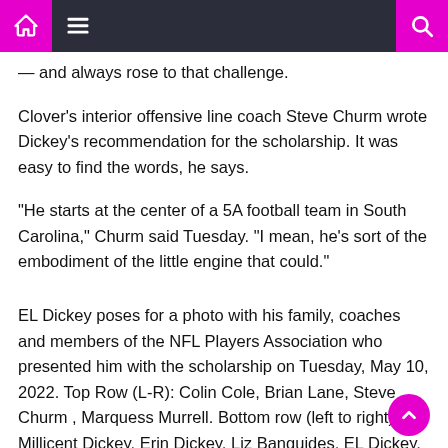Navigation bar with home, menu, and search icons
— and always rose to that challenge.
Clover's interior offensive line coach Steve Churm wrote Dickey's recommendation for the scholarship. It was easy to find the words, he says.
“He starts at the center of a 5A football team in South Carolina,” Churm said Tuesday. “I mean, he’s sort of the embodiment of the little engine that could.”
EL Dickey poses for a photo with his family, coaches and members of the NFL Players Association who presented him with the scholarship on Tuesday, May 10, 2022. Top Row (L-R): Colin Cole, Brian Lane, Steve Churm , Marquess Murrell. Bottom row (left to right): Millicent Dickey, Erin Dickey, Liz Banguides, EL Dickey, Amarintha Whitener, Bryan Dillon, Clover...